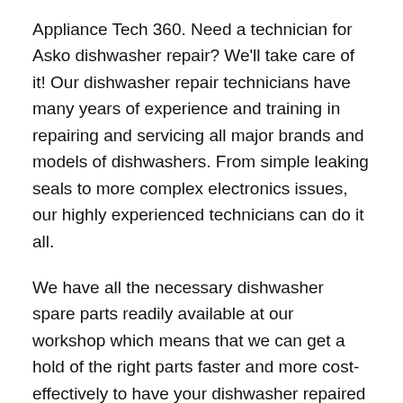Appliance Tech 360. Need a technician for Asko dishwasher repair? We'll take care of it! Our dishwasher repair technicians have many years of experience and training in repairing and servicing all major brands and models of dishwashers. From simple leaking seals to more complex electronics issues, our highly experienced technicians can do it all.
We have all the necessary dishwasher spare parts readily available at our workshop which means that we can get a hold of the right parts faster and more cost-effectively to have your dishwasher repaired and running like new, in no time.
Book your FREE consultation. Call 0411-523-923 today.